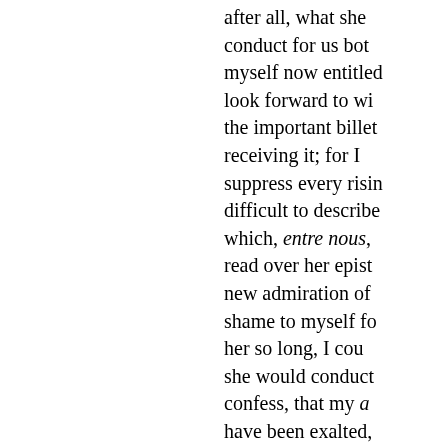after all, what she conduct for us both myself now entitled look forward to wi the important billet receiving it; for I suppress every risin difficult to describe which, entre nous, read over her epist new admiration of shame to myself fo her so long, I cou she would conduct confess, that my a have been exalted, ...